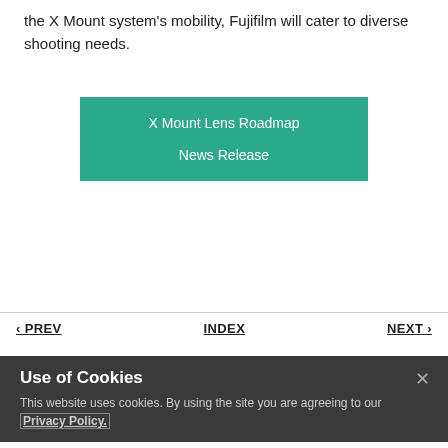the X Mount system's mobility, Fujifilm will cater to diverse shooting needs.
[Figure (other): Teal button box with two links: 'X Mount Lens Roadmap' and 'News Release']
‹ PREV   INDEX   NEXT ›
Use of Cookies
This website uses cookies. By using the site you are agreeing to our Privacy Policy.